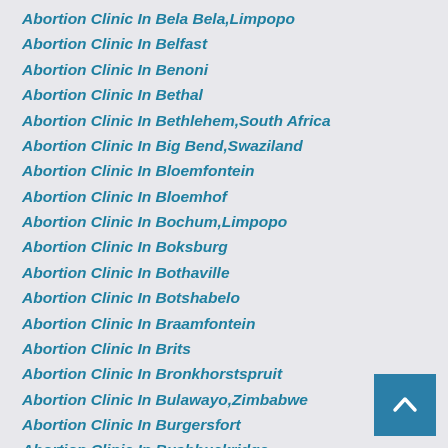Abortion Clinic In Bela Bela,Limpopo
Abortion Clinic In Belfast
Abortion Clinic In Benoni
Abortion Clinic In Bethal
Abortion Clinic In Bethlehem,South Africa
Abortion Clinic In Big Bend,Swaziland
Abortion Clinic In Bloemfontein
Abortion Clinic In Bloemhof
Abortion Clinic In Bochum,Limpopo
Abortion Clinic In Boksburg
Abortion Clinic In Bothaville
Abortion Clinic In Botshabelo
Abortion Clinic In Braamfontein
Abortion Clinic In Brits
Abortion Clinic In Bronkhorstspruit
Abortion Clinic In Bulawayo,Zimbabwe
Abortion Clinic In Burgersfort
Abortion Clinic In Bushbuckridge
Abortion Clinic In Butha-Butha,Lesotho